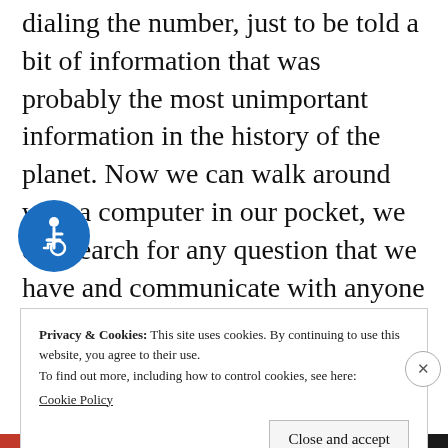dialing the number, just to be told a bit of information that was probably the most unimportant information in the history of the planet. Now we can walk around with a computer in our pocket, we can search for any question that we have and communicate with anyone throughout the world without having to look for coins.
[Figure (illustration): Wheelchair accessibility icon: white figure in wheelchair on blue circular background]
Privacy & Cookies: This site uses cookies. By continuing to use this website, you agree to their use.
To find out more, including how to control cookies, see here:
Cookie Policy